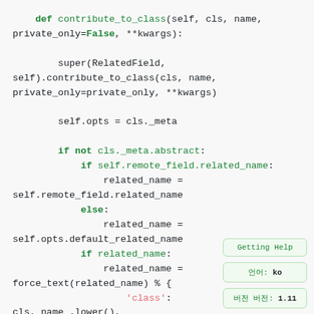def contribute_to_class(self, cls, name, private_only=False, **kwargs):

        super(RelatedField, self).contribute_to_class(cls, name, private_only=private_only, **kwargs)

        self.opts = cls._meta

        if not cls._meta.abstract:
            if self.remote_field.related_name:
                related_name =
self.remote_field.related_name
            else:
                related_name =
self.opts.default_related_name
            if related_name:
                related_name =
force_text(related_name) % {
                    'class':
cls. name .lower(),
Getting Help
언어: ko
버전 버전: 1.11